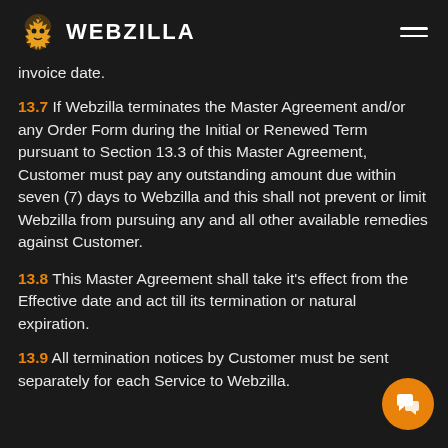WEBZILLA
invoice date.
13.7 If Webzilla terminates the Master Agreement and/or any Order Form during the Initial or Renewed Term pursuant to Section 13.3 of this Master Agreement, Customer must pay any outstanding amount due within seven (7) days to Webzilla and this shall not prevent or limit Webzilla from pursuing any and all other available remedies against Customer.
13.8 This Master Agreement shall take it's effect from the Effective date and act till its termination or natural expiration.
13.9 All termination notices by Customer must be sent separately for each Service to Webzilla.